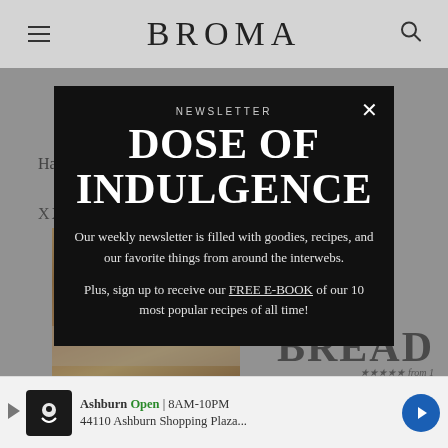BROMA
Happy baking, my friends! Enjoy.
XXX
[Figure (photo): Photo of baked bread/bars with white drizzle icing]
NEWSLETTER
DOSE OF INDULGENCE
Our weekly newsletter is filled with goodies, recipes, and our favorite things from around the interwebs.
Plus, sign up to receive our FREE E-BOOK of our 10 most popular recipes of all time!
BREAD
Ashburn  Open | 8AM-10PM
44110 Ashburn Shopping Plaza...